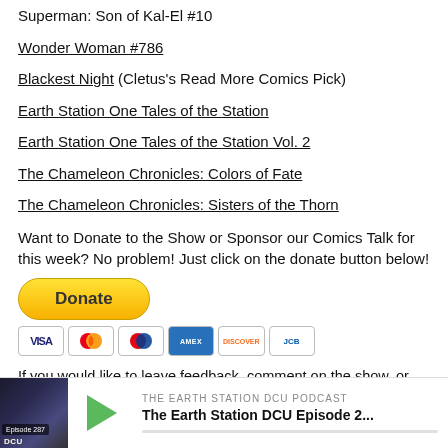Superman: Son of Kal-El #10
Wonder Woman #786
Blackest Night (Cletus's Read More Comics Pick)
Earth Station One Tales of the Station
Earth Station One Tales of the Station Vol. 2
The Chameleon Chronicles: Colors of Fate
The Chameleon Chronicles: Sisters of the Thorn
Want to Donate to the Show or Sponsor our Comics Talk for this week? No problem! Just click on the donate button below!
[Figure (other): PayPal Donate button with payment card icons (Visa, Mastercard, Maestro, American Express, Discover, JCB)]
If you would like to leave feedback, comment on the show, or would like us to give you a shout out, please call the ESDCU feedback line at (317) 564-9133 (remember long distance charges may apply) or feel free to email us @ earthstationdcu@gmail.com
[Figure (other): Podcast player bar: The Earth Station DCU Podcast, Episode 287, The Earth Station DCU Episode 2...]